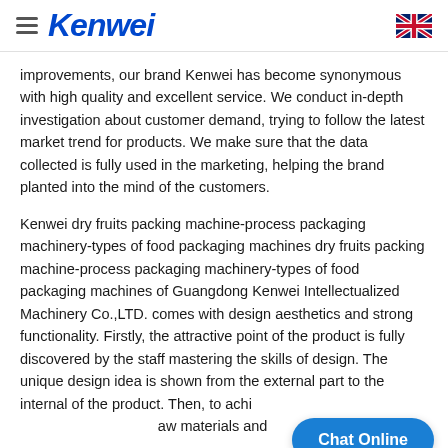Kenwei
improvements, our brand Kenwei has become synonymous with high quality and excellent service. We conduct in-depth investigation about customer demand, trying to follow the latest market trend for products. We make sure that the data collected is fully used in the marketing, helping the brand planted into the mind of the customers.
Kenwei dry fruits packing machine-process packaging machinery-types of food packaging machines dry fruits packing machine-process packaging machinery-types of food packaging machines of Guangdong Kenwei Intellectualized Machinery Co.,LTD. comes with design aesthetics and strong functionality. Firstly, the attractive point of the product is fully discovered by the staff mastering the skills of design. The unique design idea is shown from the external part to the internal of the product. Then, to achi... experience, the product is made of remarkable raw materials and
[Figure (other): Chat Online button overlay]